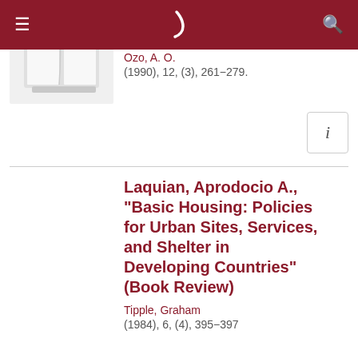≡ [logo] 🔍
[Figure (illustration): Book icon showing an open book with white pages on a light gray background]
Developing Countries: The Example Of Nigeria
Ozo, A. O.
(1990), 12, (3), 261–279.
Laquian, Aprodocio A., "Basic Housing: Policies for Urban Sites, Services, and Shelter in Developing Countries" (Book Review)
Tipple, Graham
(1984), 6, (4), 395–397